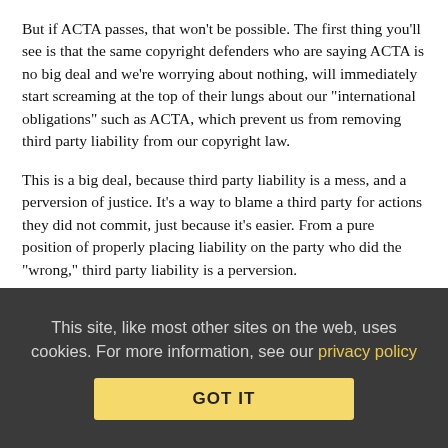But if ACTA passes, that won't be possible. The first thing you'll see is that the same copyright defenders who are saying ACTA is no big deal and we're worrying about nothing, will immediately start screaming at the top of their lungs about our "international obligations" such as ACTA, which prevent us from removing third party liability from our copyright law.
This is a big deal, because third party liability is a mess, and a perversion of justice. It's a way to blame a third party for actions they did not commit, just because it's easier. From a pure position of properly placing liability on the party who did the "wrong," third party liability is a perversion.
However, ACTA then gets worse. In section 3, it tries to set up the "safe harbors" by which a service provider might avoid liability. In the US, we already have this, with the DMCA's notice-and-takedown provision, which is widely abused. Yet, to qualify for the safe harbors in ACTA, the bar is set much higher. This is hidden pretty deep, and
This site, like most other sites on the web, uses cookies. For more information, see our privacy policy
GOT IT